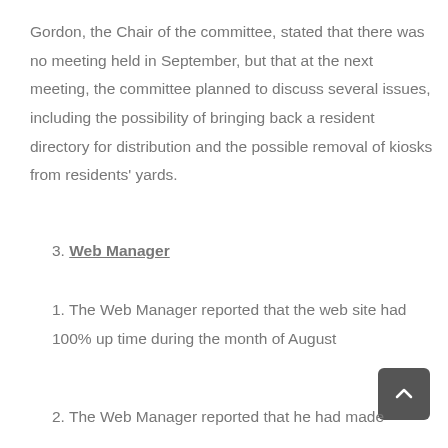Gordon, the Chair of the committee, stated that there was no meeting held in September, but that at the next meeting, the committee planned to discuss several issues, including the possibility of bringing back a resident directory for distribution and the possible removal of kiosks from residents' yards.
3. Web Manager
1. The Web Manager reported that the web site had 100% up time during the month of August
2. The Web Manager reported that he had made